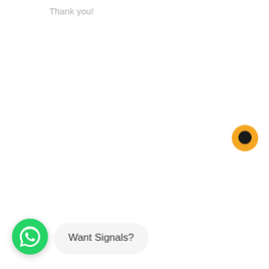Thank you!
[Figure (illustration): Orange circle with a chat bubble icon (dark speech bubble inside orange circle), floating button on the right side]
[Figure (logo): WhatsApp green circle logo with white phone/chat icon]
Want Signals?